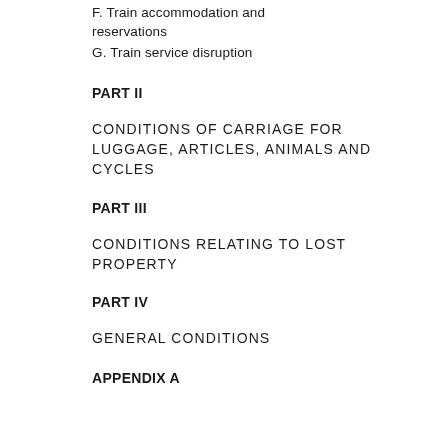F. Train accommodation and reservations
G. Train service disruption
PART II
CONDITIONS OF CARRIAGE FOR LUGGAGE, ARTICLES, ANIMALS AND CYCLES
PART III
CONDITIONS RELATING TO LOST PROPERTY
PART IV
GENERAL CONDITIONS
APPENDIX A